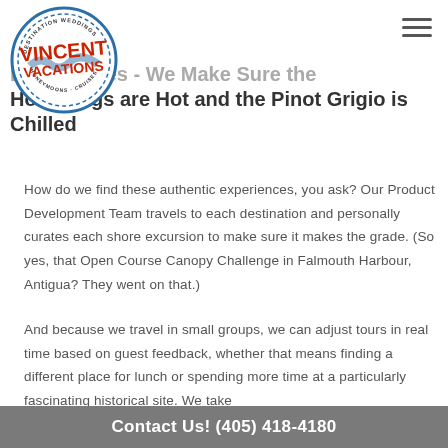[Figure (logo): Vincent Vacations circular logo with red text, blue wave graphic, and text 'Destination Weddings, Honeymoons, Cruises']
Experiences - We Make Sure the Hot Things are Hot and the Pinot Grigio is Chilled
How do we find these authentic experiences, you ask? Our Product Development Team travels to each destination and personally curates each shore excursion to make sure it makes the grade. (So yes, that Open Course Canopy Challenge in Falmouth Harbour, Antigua? They went on that.)
And because we travel in small groups, we can adjust tours in real time based on guest feedback, whether that means finding a different place for lunch or spending more time at a particularly fascinating historical site. We take
Contact Us!  (405) 418-4180